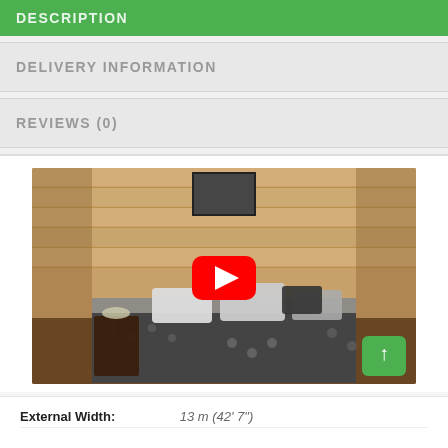DESCRIPTION
DELIVERY INFORMATION
REVIEWS (0)
[Figure (screenshot): Video thumbnail showing interior of a log cabin bedroom with wooden plank walls, a bed with patterned duvet and pillows, a side table with lamp; a YouTube play button overlay is shown in the center; a green back-to-top button is in the bottom right corner.]
External Width: 13 m (42' 7")